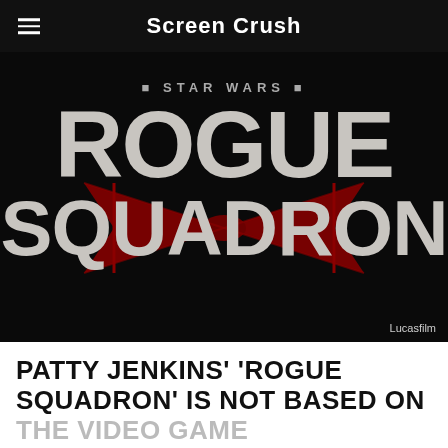Screen Crush
[Figure (logo): Star Wars: Rogue Squadron movie logo on black background with X-wing silhouette overlay. Text reads 'STAR WARS' above 'ROGUE' and 'SQUADRON'. Credit: Lucasfilm]
PATTY JENKINS' 'ROGUE SQUADRON' IS NOT BASED ON THE VIDEO GAME